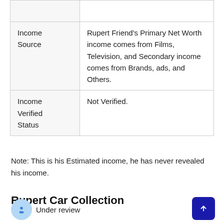|  |  |
| --- | --- |
| Income Source | Rupert Friend's Primary Net Worth income comes from Films, Television, and Secondary income comes from Brands, ads, and Others. |
| Income Verified Status | Not Verified. |
Note: This is his Estimated income, he has never revealed his income.
Rupert Car Collection
Under review